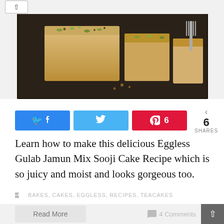[Figure (photo): Sliced Eggless Gulab Jamun Mix Sooji Cake on a dark tray with a fork visible, showing the texture and pistachio toppings]
6 SHARES (with Facebook, Twitter, Pinterest share buttons)
Learn how to make this delicious Eggless Gulab Jamun Mix Sooji Cake Recipe which is so juicy and moist and looks gorgeous too.
BAKES, CAKES, EGGLESS, RECIPES, TEACAKES
Read More
4 Comments